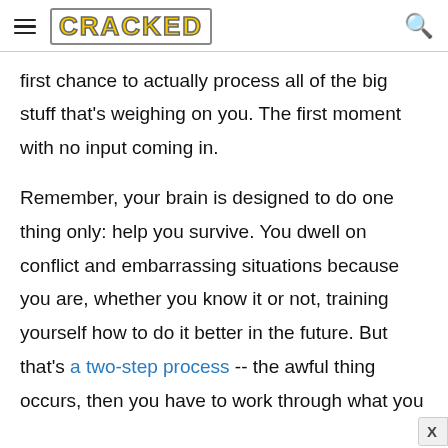CRACKED
first chance to actually process all of the big stuff that's weighing on you. The first moment with no input coming in.
Remember, your brain is designed to do one thing only: help you survive. You dwell on conflict and embarrassing situations because you are, whether you know it or not, training yourself how to do it better in the future. But that's a two-step process -- the awful thing occurs, then you have to work through what you